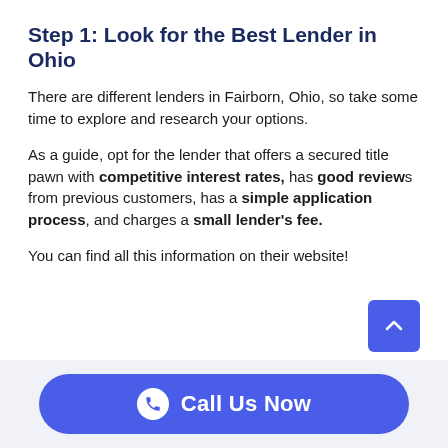Step 1: Look for the Best Lender in Ohio
There are different lenders in Fairborn, Ohio, so take some time to explore and research your options.
As a guide, opt for the lender that offers a secured title pawn with competitive interest rates, has good reviews from previous customers, has a simple application process, and charges a small lender's fee.
You can find all this information on their website!
[Figure (other): Blue rounded button with phone icon and text 'Call Us Now']